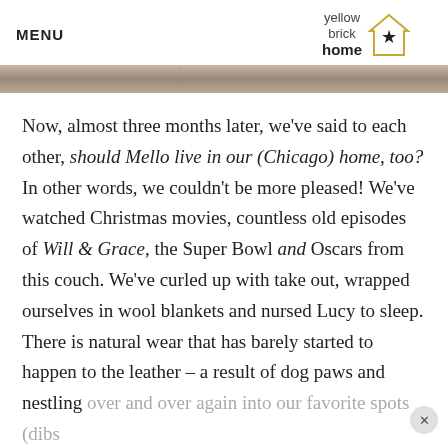MENU | yellow brick home [logo]
[Figure (photo): Narrow horizontal photo strip showing a blurred/textured surface, likely a couch or fabric closeup]
Now, almost three months later, we've said to each other, should Mello live in our (Chicago) home, too? In other words, we couldn't be more pleased! We've watched Christmas movies, countless old episodes of Will & Grace, the Super Bowl and Oscars from this couch. We've curled up with take out, wrapped ourselves in wool blankets and nursed Lucy to sleep. There is natural wear that has barely started to happen to the leather – a result of dog paws and nestling over and over again into our favorite spots (dibs on the chaise, always!) – and we can't wait for